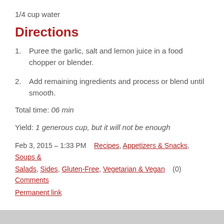1/4 cup water
Directions
1. Puree the garlic, salt and lemon juice in a food chopper or blender.
2. Add remaining ingredients and process or blend until smooth.
Total time: 06 min
Yield: 1 generous cup, but it will not be enough
Feb 3, 2015 – 1:33 PM   Recipes, Appetizers & Snacks, Soups & Salads, Sides, Gluten-Free, Vegetarian & Vegan   (0) Comments
Permanent link